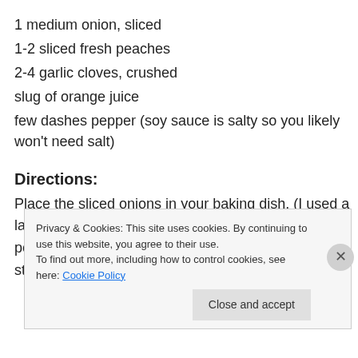1 medium onion, sliced
1-2 sliced fresh peaches
2-4 garlic cloves, crushed
slug of orange juice
few dashes pepper (soy sauce is salty so you likely won't need salt)
Directions:
Place the sliced onions in your baking dish. (I used a lasagna pan.)  Put your chops on top of onions.  Put peaches on top of pork.  Mix the rest of the yummy stuff
Privacy & Cookies: This site uses cookies. By continuing to use this website, you agree to their use.
To find out more, including how to control cookies, see here: Cookie Policy